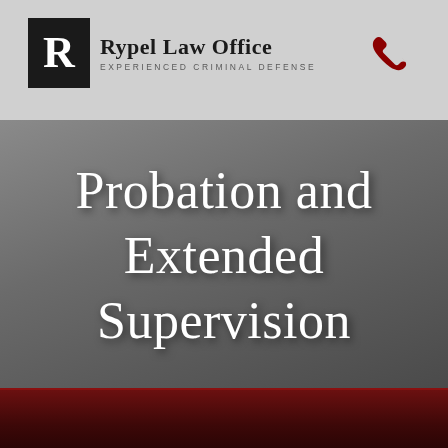Rypel Law Office — EXPERIENCED CRIMINAL DEFENSE
Probation and Extended Supervision